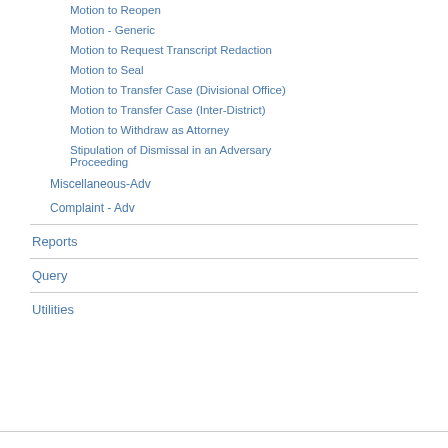Motion to Reopen
Motion - Generic
Motion to Request Transcript Redaction
Motion to Seal
Motion to Transfer Case (Divisional Office)
Motion to Transfer Case (Inter-District)
Motion to Withdraw as Attorney
Stipulation of Dismissal in an Adversary Proceeding
Miscellaneous-Adv
Complaint - Adv
Reports
Query
Utilities